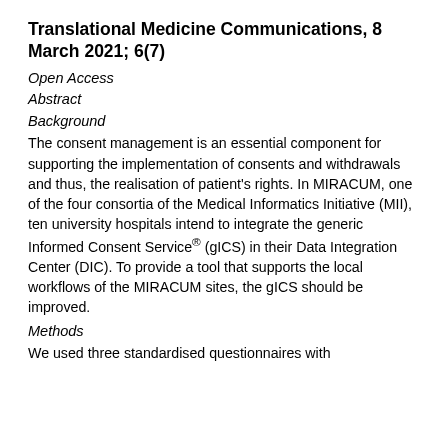Translational Medicine Communications, 8 March 2021; 6(7)
Open Access
Abstract
Background
The consent management is an essential component for supporting the implementation of consents and withdrawals and thus, the realisation of patient's rights. In MIRACUM, one of the four consortia of the Medical Informatics Initiative (MII), ten university hospitals intend to integrate the generic Informed Consent Service® (gICS) in their Data Integration Center (DIC). To provide a tool that supports the local workflows of the MIRACUM sites, the gICS should be improved.
Methods
We used three standardised questionnaires with